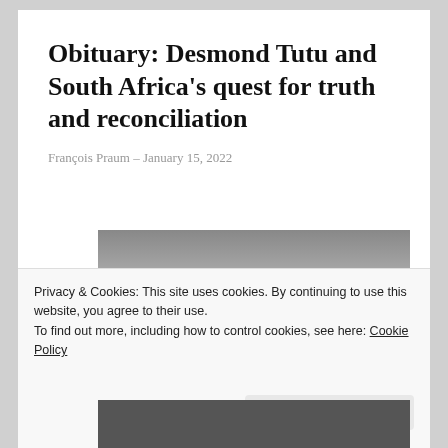Obituary: Desmond Tutu and South Africa's quest for truth and reconciliation
François Praum – January 15, 2022
[Figure (photo): Black and white photograph of Desmond Tutu, partially visible, showing top portion and bottom portion with the cookie consent overlay in between]
Privacy & Cookies: This site uses cookies. By continuing to use this website, you agree to their use.
To find out more, including how to control cookies, see here: Cookie Policy
Close and accept